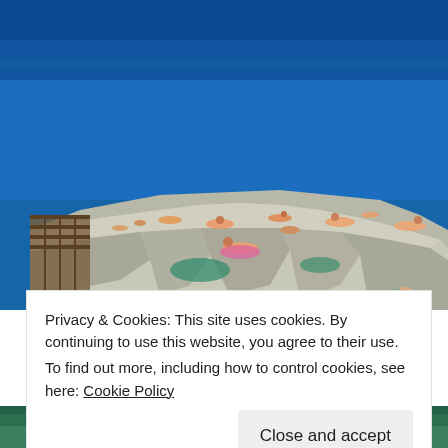[Figure (photo): Photograph of people sunbathing on a large flat rocky cliff/promontory extending into bright blue Mediterranean sea. The top portion shows deep blue ocean water. The rocky limestone outcrop with sunbathers in swimwear is in the middle. A wooden walkway/steps structure is visible on the left side.]
Privacy & Cookies: This site uses cookies. By continuing to use this website, you agree to their use.
To find out more, including how to control cookies, see here: Cookie Policy
Close and accept